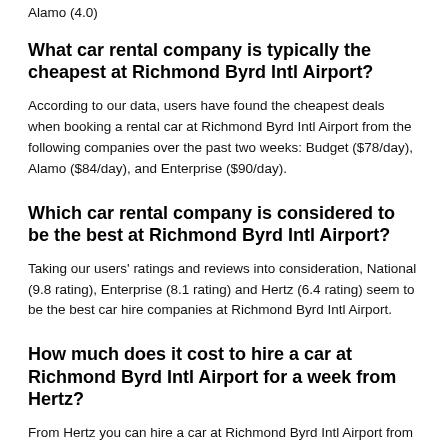Alamo (4.0)
What car rental company is typically the cheapest at Richmond Byrd Intl Airport?
According to our data, users have found the cheapest deals when booking a rental car at Richmond Byrd Intl Airport from the following companies over the past two weeks: Budget ($78/day), Alamo ($84/day), and Enterprise ($90/day).
Which car rental company is considered to be the best at Richmond Byrd Intl Airport?
Taking our users' ratings and reviews into consideration, National (9.8 rating), Enterprise (8.1 rating) and Hertz (6.4 rating) seem to be the best car hire companies at Richmond Byrd Intl Airport.
How much does it cost to hire a car at Richmond Byrd Intl Airport for a week from Hertz?
From Hertz you can hire a car at Richmond Byrd Intl Airport from